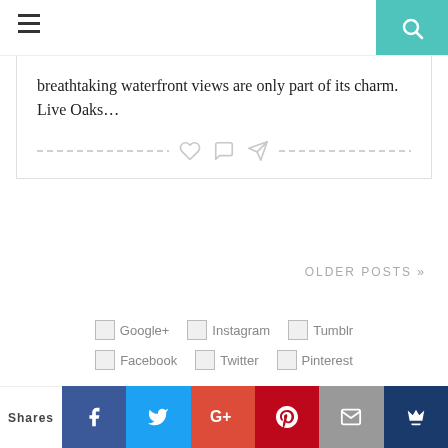Navigation bar with hamburger menu and search icon
breathtaking waterfront views are only part of its charm. Live Oaks…
OLDER POSTS »
[Figure (infographic): Social media icon links: Google+, Instagram, Tumblr, Facebook, Twitter, Pinterest]
Shares | Facebook | Twitter | Google+ | Pinterest | Email | Crown